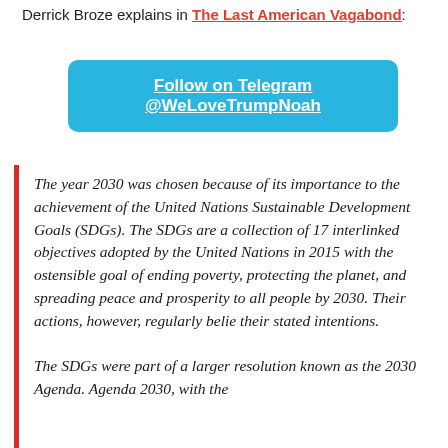Derrick Broze explains in The Last American Vagabond:
Follow on Telegram @WeLoveTrumpNoah
The year 2030 was chosen because of its importance to the achievement of the United Nations Sustainable Development Goals (SDGs). The SDGs are a collection of 17 interlinked objectives adopted by the United Nations in 2015 with the ostensible goal of ending poverty, protecting the planet, and spreading peace and prosperity to all people by 2030. Their actions, however, regularly belie their stated intentions.
The SDGs were part of a larger resolution known as the 2030 Agenda. Agenda 2030, with the...